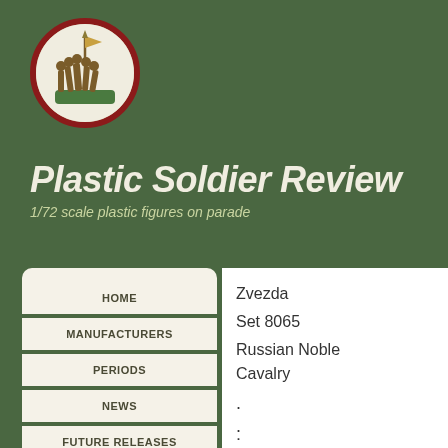[Figure (logo): Circular logo with dark red border and cream background showing silhouette of soldiers (Iwo Jima style flag-raising) on a green base, with a flag/spear at top]
Plastic Soldier Review
1/72 scale plastic figures on parade
HOME
MANUFACTURERS
PERIODS
NEWS
FUTURE RELEASES
Zvezda

Set 8065

Russian Noble Cavalry

.

:
:
:
All figures are supplied